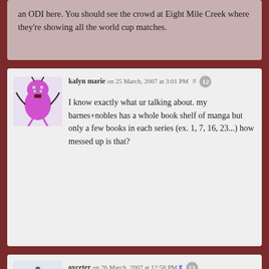an ODI here. You should see the crowd at Eight Mile Creek where they're showing all the world cup matches.
kalyn marie on 25 March, 2007 at 3:01 PM # 12
I know exactly what ur talking about. my barnes+nobles has a whole book shelf of manga but only a few books in each series (ex. 1, 7, 16, 23...) how messed up is that?
oyceter on 26 March, 2007 at 12:58 PM # 13
Because I am lazy, here is my grumpy reaction to Gravett. Though I have to add